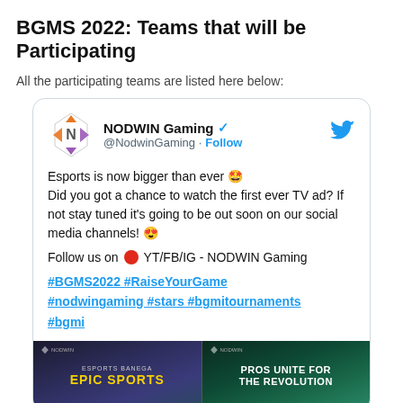BGMS 2022: Teams that will be Participating
All the participating teams are listed here below:
[Figure (screenshot): Embedded tweet from NODWIN Gaming (@NodwinGaming) with Follow button. Tweet text: 'Esports is now bigger than ever 🤩 Did you got a chance to watch the first ever TV ad? If not stay tuned it's going to be out soon on our social media channels! 😍 Follow us on 🔴 YT/FB/IG - NODWIN Gaming #BGMS2022 #RaiseYourGame #nodwingaming #stars #bgmitournaments #bgmi'. Below the tweet text are two promotional images side by side: left shows 'ESPORTS BANEGA EPIC SPORTS' and right shows 'PROS UNITE FOR THE REVOLUTION'.]